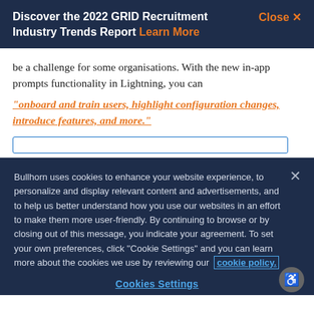Discover the 2022 GRID Recruitment Industry Trends Report Learn More
be a challenge for some organisations. With the new in-app prompts functionality in Lightning, you can “onboard and train users, highlight configuration changes, introduce features, and more.”
Bullhorn uses cookies to enhance your website experience, to personalize and display relevant content and advertisements, and to help us better understand how you use our websites in an effort to make them more user-friendly. By continuing to browse or by closing out of this message, you indicate your agreement. To set your own preferences, click ‘‘Cookie Settings’’ and you can learn more about the cookies we use by reviewing our cookie policy.
Cookies Settings